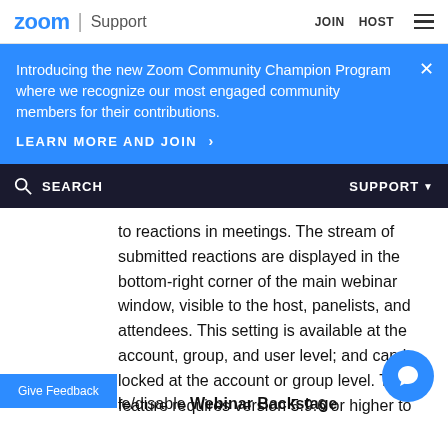zoom | Support  JOIN  HOST
Introducing the new Zoom Community Champion Program where we recognize our most engaged community members for their contributions.
LEARN MORE AND JOIN >
SEARCH   SUPPORT
to reactions in meetings. The stream of submitted reactions are displayed in the bottom-right corner of the main webinar window, visible to the host, panelists, and attendees. This setting is available at the account, group, and user level; and can be locked at the account or group level. This feature requires version 5.9.6 or higher to send and see reactions.
le/disable Webinar Backstage